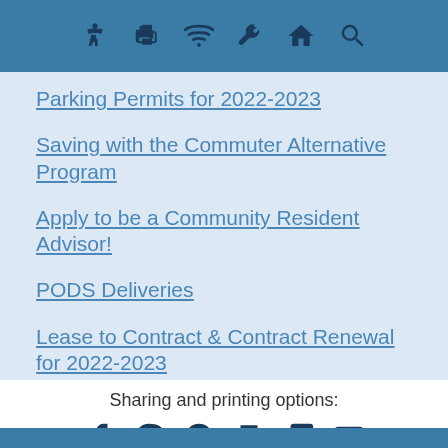Navigation bar with icons: accessibility, print/kiosk, wifi, settings/wrench, home, search
Parking Permits for 2022-2023
Saving with the Commuter Alternative Program
Apply to be a Community Resident Advisor!
PODS Deliveries
Lease to Contract & Contract Renewal for 2022-2023
Sharing and printing options:
Social sharing icons: Facebook, Pinterest, Reddit, Print, PDF, Email